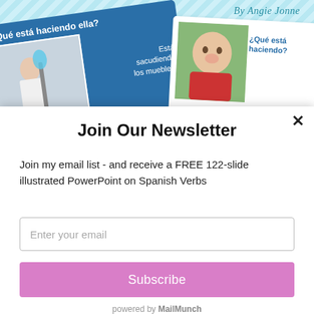[Figure (illustration): Background with teal diagonal stripes and two flashcard-style cards. Left card is blue with Spanish question '¿Qué está haciendo ella?' and answer 'Está sacudiendo los muebles.' with photo of woman dusting. Right card is white with photo of baby and question '¿Qué está haciendo?' with answer 'Está comiendo...' Text 'By Angie Jonne' in cursive top right.]
Join Our Newsletter
Join my email list - and receive a FREE 122-slide illustrated PowerPoint on Spanish Verbs
Enter your email
Subscribe
powered by MailMunch